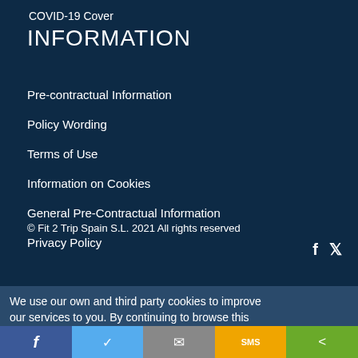COVID-19 Cover
INFORMATION
Pre-contractual Information
Policy Wording
Terms of Use
Information on Cookies
General Pre-Contractual Information
Privacy Policy
© Fit 2 Trip Spain S.L. 2021 All rights reserved
We use our own and third party cookies to improve our services to you. By continuing to browse this